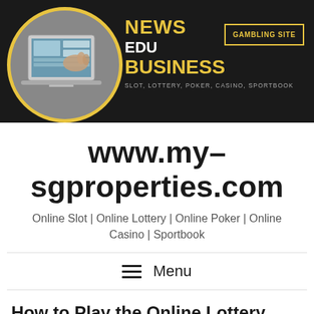[Figure (screenshot): Website banner: dark background with a circular image of a person using a laptop on the left, text NEWS / EDU / BUSINESS and subtitle SLOT, LOTTERY, POKER, CASINO, SPORTBOOK on the right, with a GAMBLING SITE button in a yellow border box.]
www.my-sgproperties.com
Online Slot | Online Lottery | Online Poker | Online Casino | Sportbook
Menu
How to Play the Online Lottery